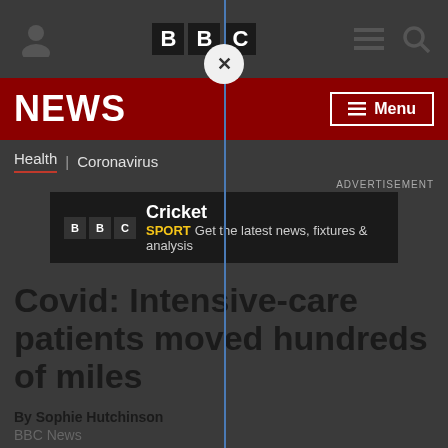[Figure (screenshot): BBC website top navigation bar with person icon, BBC logo boxes (B, B, C in black squares), hamburger menu and search icon, with a circular close button overlaid in center]
[Figure (screenshot): BBC NEWS dark red banner with NEWS text on left and Menu button with hamburger icon on right]
Health | Coronavirus
ADVERTISEMENT
[Figure (screenshot): BBC Sport Cricket advertisement banner: BBC logo boxes, Cricket in bold white, SPORT in yellow, Get the latest news, fixtures & analysis in grey]
Covid: Intensive-care patients moved hundreds of miles
By Sophie Hutchinson
BBC News